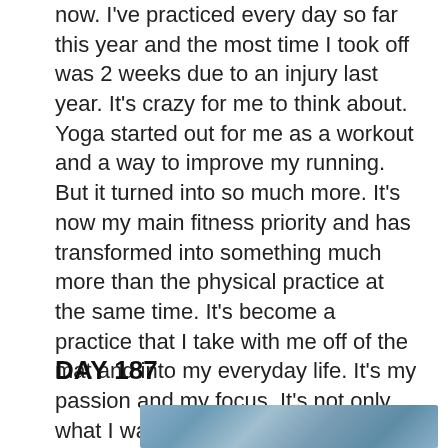now. I've practiced every day so far this year and the most time I took off was 2 weeks due to an injury last year. It's crazy for me to think about. Yoga started out for me as a workout and a way to improve my running. But it turned into so much more. It's now my main fitness priority and has transformed into something much more than the physical practice at the same time. It's become a practice that I take with me off of the mat and into my everyday life. It's my passion and my focus. It's not only what I want to do with my life, it's also how I want to live my life.
DAY 187
[Figure (photo): Partial photo visible at bottom of page, appears to show an outdoor scene]